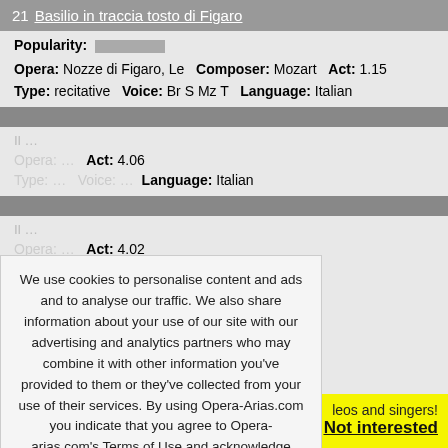21 Basilio in traccia tosto di Figaro
Popularity: [bar]
Opera: Nozze di Figaro, Le   Composer: Mozart   Act: 1.15
Type: recitative   Voice: Br S Mz T   Language: Italian
[partial/obscured content]
Act: 4.06   e: Italian
Act: 4.02
[Figure (screenshot): Cookie consent overlay with text about cookies and privacy policy, a green 'Got it!' button, and links to 'Tell me more' and 'Check it later']
leos and singers!
Not interested